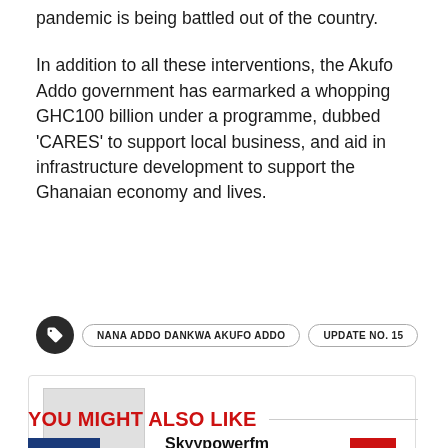pandemic is being battled out of the country.
In addition to all these interventions, the Akufo Addo government has earmarked a whopping GHC100 billion under a programme, dubbed 'CARES' to support local business, and aid in infrastructure development to support the Ghanaian economy and lives.
NANA ADDO DANKWA AKUFO ADDO
UPDATE NO. 15
Skyypowerfm
YOU MIGHT ALSO LIKE